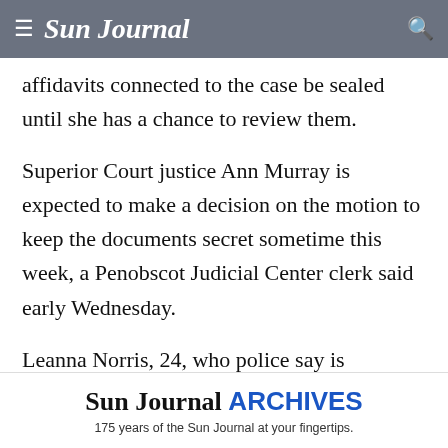≡ Sun Journal 🔍
affidavits connected to the case be sealed until she has a chance to review them.
Superior Court justice Ann Murray is expected to make a decision on the motion to keep the documents secret sometime this week, a Penobscot Judicial Center clerk said early Wednesday.
Leanna Norris, 24, who police say is formerly from Stetson, was arrested July 3 for the murder of her daughter, Loh Melody Grenda, who police
[Figure (other): Sun Journal ARCHIVES advertisement banner: '175 years of the Sun Journal at your fingertips.']